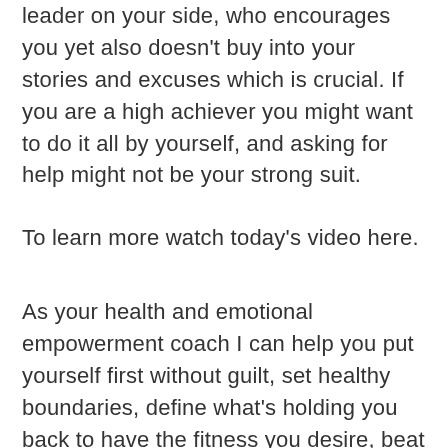leader on your side, who encourages you yet also doesn't buy into your stories and excuses which is crucial. If you are a high achiever you might want to do it all by yourself, and asking for help might not be your strong suit.
To learn more watch today's video here.
As your health and emotional empowerment coach I can help you put yourself first without guilt, set healthy boundaries, define what's holding you back to have the fitness you desire, beat the path of resistance long-term, take control of your health and life, develop and track your individual-tailored wellness goals. Together, we will ensure you establish a happier,